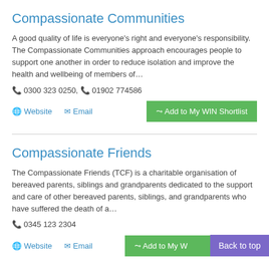Compassionate Communities
A good quality of life is everyone's right and everyone's responsibility. The Compassionate Communities approach encourages people to support one another in order to reduce isolation and improve the health and wellbeing of members of…
📞 0300 323 0250, 📞 01902 774586
Website | Email | + Add to My WIN Shortlist
Compassionate Friends
The Compassionate Friends (TCF) is a charitable organisation of bereaved parents, siblings and grandparents dedicated to the support and care of other bereaved parents, siblings, and grandparents who have suffered the death of a…
📞 0345 123 2304
Website | Email | + Add to My W… | Back to top